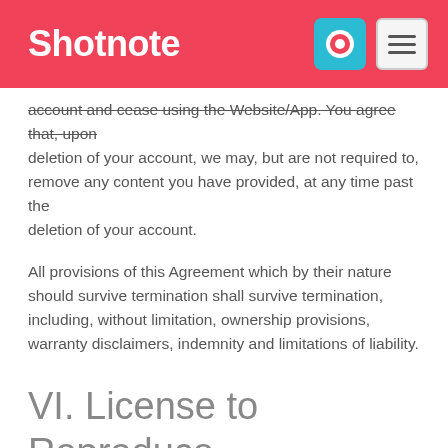Shotnote
account and cease using the Website/App. You agree that, upon deletion of your account, we may, but are not required to, remove any content you have provided, at any time past the deletion of your account.
All provisions of this Agreement which by their nature should survive termination shall survive termination, including, without limitation, ownership provisions, warranty disclaimers, indemnity and limitations of liability.
VI. License to Reproduce Content
By submitting Content to us for inclusion on the Website/App, you grant us a world-wide, royalty-free, and non-exclusive license to reproduce, modify, adapt and publish the Content, solely for the purpose of displaying, distributing and promoting the contents of your account, including through downloadable